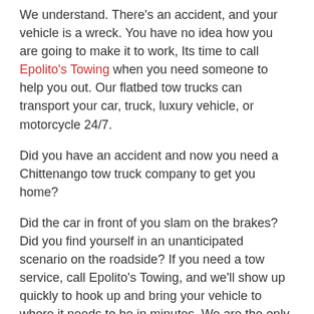We understand. There's an accident, and your vehicle is a wreck. You have no idea how you are going to make it to work, Its time to call Epolito's Towing when you need someone to help you out. Our flatbed tow trucks can transport your car, truck, luxury vehicle, or motorcycle 24/7.
Did you have an accident and now you need a Chittenango tow truck company to get you home?
Did the car in front of you slam on the brakes? Did you find yourself in an unanticipated scenario on the roadside? If you need a tow service, call Epolito's Towing, and we'll show up quickly to hook up and bring your vehicle to where it needs to be in minutes. We are the only tow truck in Chittenango that will get you home without breaking your budget.
We make it our business to guarantee that your vehicle